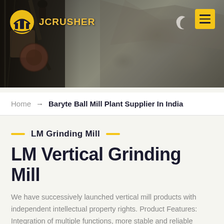[Figure (photo): Quarry/mining site background photo with heavy machinery and rock face, dark industrial scene. Logo 'JCRUSHER' with yellow icon in top left, moon icon and yellow hamburger menu button in top right.]
Home → Baryte Ball Mill Plant Supplier In India
LM Grinding Mill
LM Vertical Grinding Mill
We have successively launched vertical mill products with independent intellectual property rights. Product Features: Integration of multiple functions, more stable and reliable production and more excellent capacity